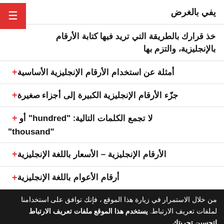يفي بالغرض
خذ قرارك بالطريقة التي تريد فيها كتابة الأرقام بالإنجليزية، والتزم بها
+ أمثلة عن استخدام الأرقام الإنجليزية الأساسية
+ جزّء الأرقام الإنجليزية الكبيرة إلى أجزاء صغيرة
+ لا تجمع الكلمات التالية: "hundred" أو "thousand"
+ الأرقام الإنجليزية – الأسعار باللغة الإنجليزية
+ أرقام الأعوام باللغة الإنجليزية
من خلال الاستمرار في زيارة هذا الموقع ، فإنك توافق على استخدامنا لملفات تعريف الارتباط. يستخدم هذا الموقع ملفات تعريف الارتباط لتحسين تجربتك.
اقرأ سياسة ملفات تعريف الارتباط الخاصة بنا   فهمتك